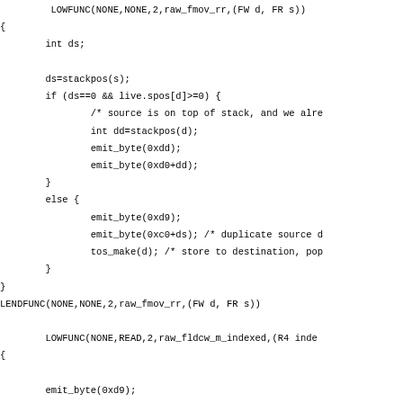LOWFUNC(NONE,NONE,2,raw_fmov_rr,(FW d, FR s))
{
        int ds;

        ds=stackpos(s);
        if (ds==0 && live.spos[d]>=0) {
                /* source is on top of stack, and we alre
                int dd=stackpos(d);
                emit_byte(0xdd);
                emit_byte(0xd0+dd);
        }
        else {
                emit_byte(0xd9);
                emit_byte(0xc0+ds); /* duplicate source d
                tos_make(d); /* store to destination, pop
        }
}
LENDFUNC(NONE,NONE,2,raw_fmov_rr,(FW d, FR s))

        LOWFUNC(NONE,READ,2,raw_fldcw_m_indexed,(R4 inde
{

        emit_byte(0xd9);
        emit_byte(0xa8+index);
        emit_long(base);
}
LENDFUNC(NONE,READ,2,raw_fldcw_m_indexed,(R4 index, IMM b

        LOWFUNC(NONE,NONE,2,raw_fsqrt_rr,(FW d, FR s))
{